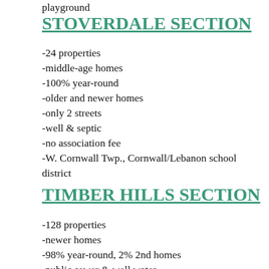playground
STOVERDALE SECTION
-24 properties
-middle-age homes
-100% year-round
-older and newer homes
-only 2 streets
-well & septic
-no association fee
-W. Cornwall Twp., Cornwall/Lebanon school district
TIMBER HILLS SECTION
-128 properties
-newer homes
-98% year-round, 2% 2nd homes
-public sewer & well water